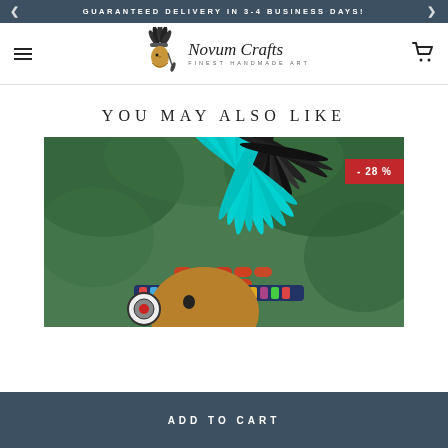GUARANTEED DELIVERY IN 3-4 BUSINESS DAYS!
[Figure (logo): Novum Crafts logo with Native American chief illustration and script text 'Novum Crafts — Finest Handmade Art']
YOU MAY ALSO LIKE
[Figure (photo): A person wearing a colorful Native American-style feather headdress with turquoise and dark feathers, beaded headband with red and orange elements, outdoors with green foliage background. Shows a -28% discount badge.]
- 28 %
ADD TO CART